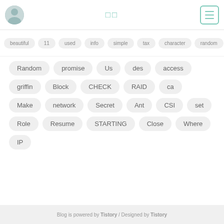□□
beautiful
11
used
info
simple
tax
character
random
1,244
2,781
script
Word
Random
promise
Us
des
access
griffin
Block
CHECK
RAID
ca
Make
network
Secret
Ant
CSI
set
Role
Resume
STARTING
Close
Where
IP
Blog is powered by Tistory / Designed by Tistory